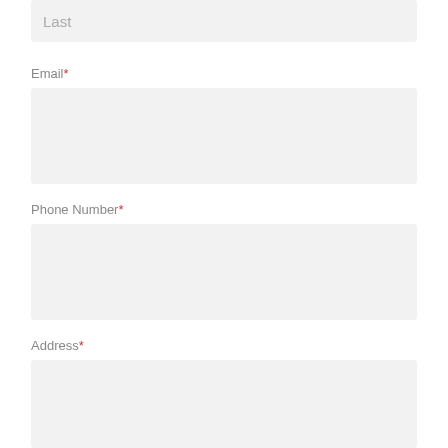[Figure (other): Form input field for Last name (top, partially visible, no label shown, placeholder 'Last')]
Email*
[Figure (other): Empty form input field for Email]
Phone Number*
[Figure (other): Empty form input field for Phone Number]
Address*
[Figure (other): Empty form textarea for Address (large, extends to bottom)]